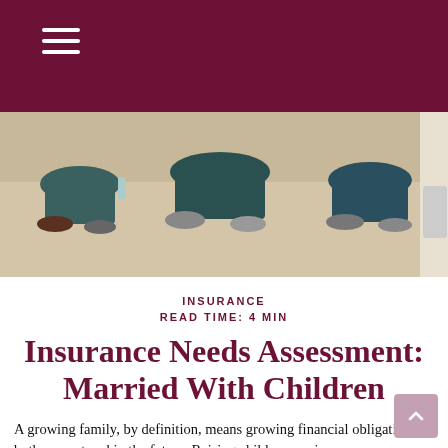[Figure (photo): Family with children sitting on carpet floor, view from above showing their legs and feet, neutral/beige carpet background]
INSURANCE
READ TIME: 4 MIN
Insurance Needs Assessment: Married With Children
A growing family, by definition, means growing financial obligations—both present and in the future. Raising children can increase your insurance needs and heightens